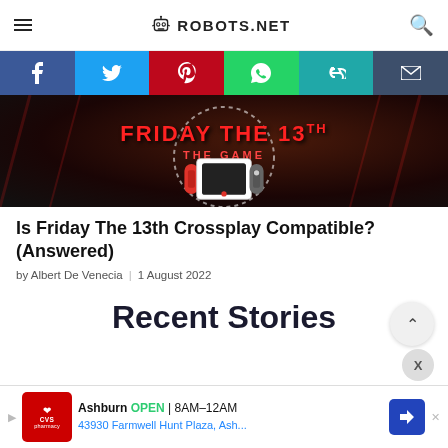ROBOTS.NET
[Figure (screenshot): Social media share buttons bar: Facebook (blue), Twitter (light blue), Pinterest (red), WhatsApp (green), Copy link (teal), Email (dark blue)]
[Figure (screenshot): Friday The 13th The Game hero banner image with Nintendo Switch console and horror-themed background]
Is Friday The 13th Crossplay Compatible? (Answered)
by Albert De Venecia | 1 August 2022
Recent Stories